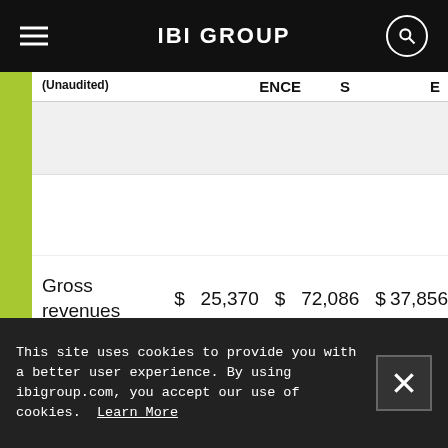IBI GROUP
| (Unaudited) | ENCE | S | E |
| --- | --- | --- | --- |
| Gross revenues | $ 25,370 | $ 72,086 | $ 37,856 |
This site uses cookies to provide you with a better user experience. By using ibigroup.com, you accept our use of cookies. Learn More